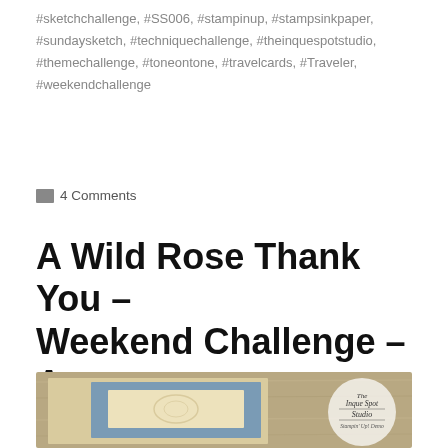#sketchchallenge, #SS006, #stampinup, #stampsinkpaper, #sundaysketch, #techniquechallenge, #theinquespotstudio, #themechallenge, #toneontone, #travelcards, #Traveler, #weekendchallenge
4 Comments
A Wild Rose Thank You – Weekend Challenge – A Simple Sketch
[Figure (photo): A handmade stamped card on a wood surface featuring a blue and cream layered design with embossed floral elements. A circular watermark logo for 'The Inque Spot Studio' is visible in the upper right.]